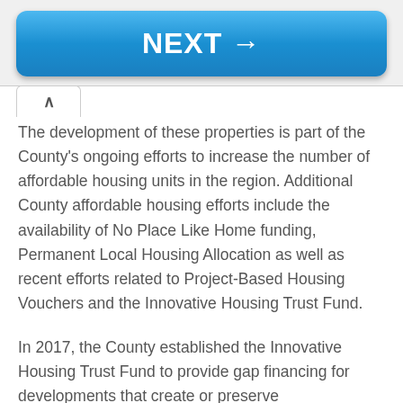[Figure (other): Blue NEXT → navigation button]
The development of these properties is part of the County's ongoing efforts to increase the number of affordable housing units in the region. Additional County affordable housing efforts include the availability of No Place Like Home funding, Permanent Local Housing Allocation as well as recent efforts related to Project-Based Housing Vouchers and the Innovative Housing Trust Fund.
In 2017, the County established the Innovative Housing Trust Fund to provide gap financing for developments that create or preserve